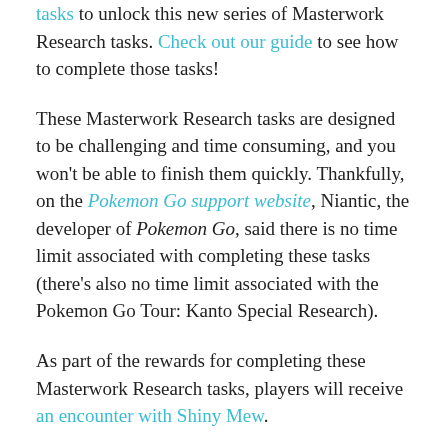tasks to unlock this new series of Masterwork Research tasks. Check out our guide to see how to complete those tasks!
These Masterwork Research tasks are designed to be challenging and time consuming, and you won't be able to finish them quickly. Thankfully, on the Pokemon Go support website, Niantic, the developer of Pokemon Go, said there is no time limit associated with completing these tasks (there's also no time limit associated with the Pokemon Go Tour: Kanto Special Research).
As part of the rewards for completing these Masterwork Research tasks, players will receive an encounter with Shiny Mew.
According to Serebii.net, here's what the All-in-One 151 tasks ask you to do, and the rewards you'll receive for